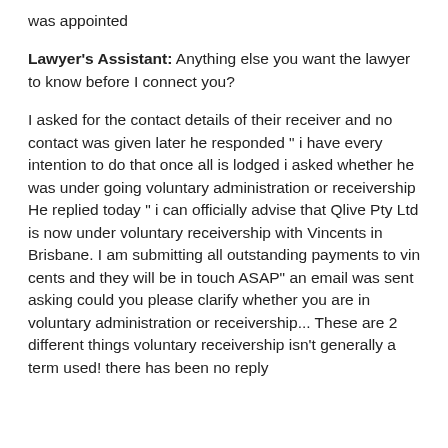was appointed
Lawyer's Assistant: Anything else you want the lawyer to know before I connect you?
I asked for the contact details of their receiver and no contact was given later he responded " i have every intention to do that once all is lodged i asked whether he was under going voluntary administration or receivership He replied today " i can officially advise that Qlive Pty Ltd is now under voluntary receivership with Vincents in Brisbane. I am submitting all outstanding payments to vin cents and they will be in touch ASAP" an email was sent asking could you please clarify whether you are in voluntary administration or receivership... These are 2 different things voluntary receivership isn't generally a term used! there has been no reply